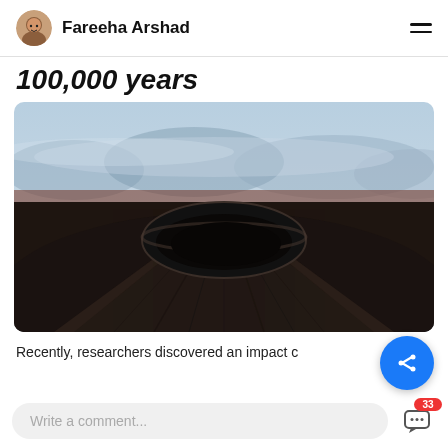Fareeha Arshad
100,000 years
[Figure (photo): Aerial photo of a large dark volcanic crater with rugged black terrain and misty mountains in the background]
Recently, researchers discovered an impact c...
Write a comment...